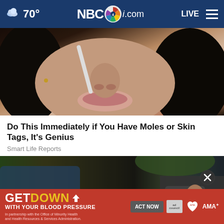70° NBC4i.com LIVE
[Figure (photo): Close-up photo of a woman's lower face and nose, holding what appears to be a skin tag removal device or dental floss near her nose. She has dark hair and is wearing a dark top.]
Do This Immediately if You Have Moles or Skin Tags, It's Genius
Smart Life Reports
[Figure (photo): Photo showing damaged or burned car exterior, debris on ground. A person's hand is visible on the right side.]
[Figure (screenshot): Advertisement banner: GET DOWN WITH YOUR BLOOD PRESSURE — ACT NOW. In partnership with the Office of Minority Health and Health Resources & Services Administration. Ad Council, American Heart Association, AMA logos shown.]